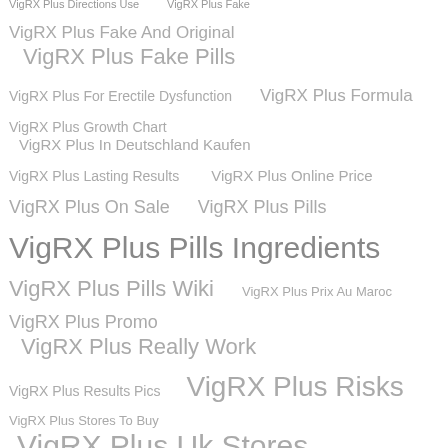VigRX Plus Directions Use
VigRX Plus Fake
VigRX Plus Fake And Original
VigRX Plus Fake Pills
VigRX Plus For Erectile Dysfunction
VigRX Plus Formula
VigRX Plus Growth Chart
VigRX Plus In Deutschland Kaufen
VigRX Plus Lasting Results
VigRX Plus Online Price
VigRX Plus On Sale
VigRX Plus Pills
VigRX Plus Pills Ingredients
VigRX Plus Pills Wiki
VigRX Plus Prix Au Maroc
VigRX Plus Promo
VigRX Plus Really Work
VigRX Plus Results Pics
VigRX Plus Risks
VigRX Plus Stores To Buy
VigRX Plus Uk Stores